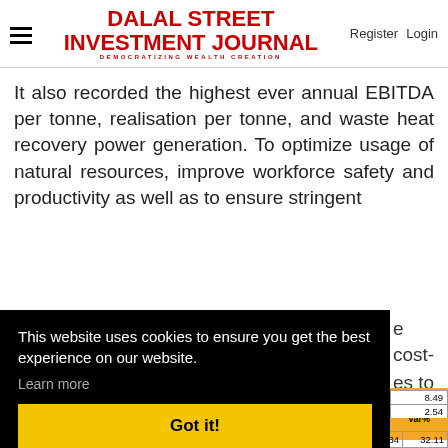DALAL STREET INVESTMENT JOURNAL — DEMOCRATIZING WEALTH CREATION | Register | Login
It also recorded the highest ever annual EBITDA per tonne, realisation per tonne, and waste heat recovery power generation. To optimize usage of natural resources, improve workforce safety and productivity as well as to ensure stringent [cost-] [es to] [esses]
This website uses cookies to ensure you get the best experience on our website.
Learn more
Got it!
| FII No of Shares |  | PBIDT (Excl DI) | 157.66 | 124.91 | 26.22 | 119.34 | 32.11 |
| --- | --- | --- | --- | --- | --- | --- | --- |
| FII No of Shares | 18.90 | PBIDT (Excl DI) | 157.66 | 124.91 | 26.22 | 119.34 | 32.11 |